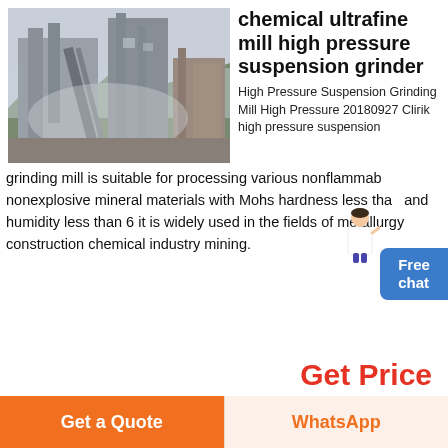[Figure (photo): Industrial grinding mill facility with large metal structures, conveyors, and dusty atmosphere with mountains in background]
chemical ultrafine mill high pressure suspension grinder
High Pressure Suspension Grinding Mill High Pressure 20180927 Clirik high pressure suspension grinding mill is suitable for processing various nonflammable nonexplosive mineral materials with Mohs hardness less than and humidity less than 6 it is widely used in the fields of metallurgy construction chemical industry mining.
Get Price
[Figure (photo): Outdoor industrial site with trees and equipment in background]
lgh Pressure Suspension Grinder
Get a Quote
WhatsApp